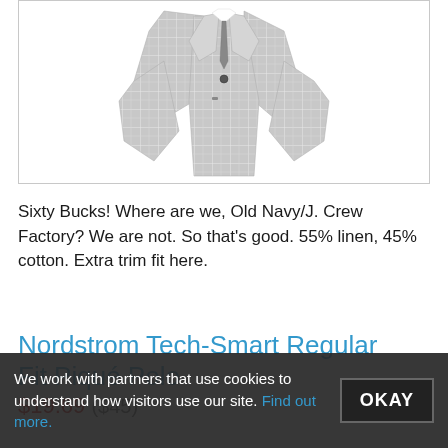[Figure (photo): Gray plaid/windowpane linen-cotton sport coat/blazer, light gray with subtle white crosshatch pattern, single button, shown from the front on a white background inside a bordered box.]
Sixty Bucks! Where are we, Old Navy/J. Crew Factory? We are not. So that’s good. 55% linen, 45% cotton. Extra trim fit here.
Nordstrom Tech-Smart Regular Fit Piqué Polo
$19.69 ($45)
We work with partners that use cookies to understand how visitors use our site. Find out more.